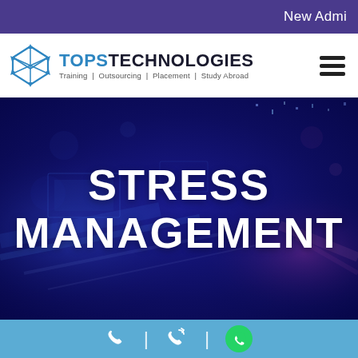New Admi
[Figure (logo): TOPS Technologies logo with cube icon and tagline: Training | Outsourcing | Placement | Study Abroad]
STRESS MANAGEMENT
[Figure (infographic): Blue-toned dark technology/digital background image serving as hero banner backdrop with blue light streaks and bokeh effects]
[Figure (infographic): Bottom contact bar with phone icon, callback icon, and WhatsApp green circle icon separated by vertical dividers]